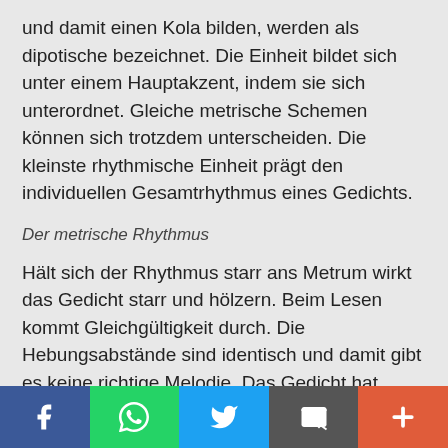und damit einen Kola bilden, werden als dipotische bezeichnet. Die Einheit bildet sich unter einem Hauptakzent, indem sie sich unterordnet. Gleiche metrische Schemen können sich trotzdem unterscheiden. Die kleinste rhythmische Einheit prägt den individuellen Gesamtrhythmus eines Gedichts.
Der metrische Rhythmus
Hält sich der Rhythmus starr ans Metrum wirkt das Gedicht starr und hölzern. Beim Lesen kommt Gleichgültigkeit durch. Die Hebungsabstände sind identisch und damit gibt es keine richtige Melodie. Das Gedicht hat weder innere Spannung, noch Bewegtheit, noch Rhythmus. Das Metrum zehrt der Rhythmus auf. Unregelmäßigkeiten durchbrechen die
Social share bar: Facebook, WhatsApp, Twitter, Email, More